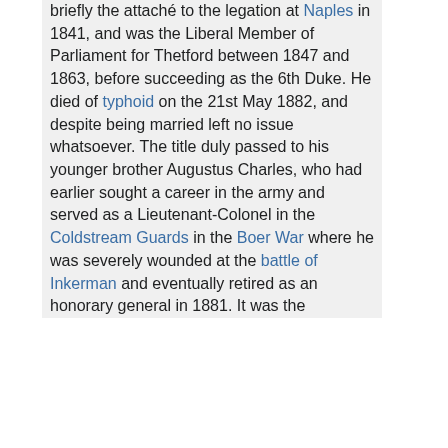briefly the attaché to the legation at Naples in 1841, and was the Liberal Member of Parliament for Thetford between 1847 and 1863, before succeeding as the 6th Duke. He died of typhoid on the 21st May 1882, and despite being married left no issue whatsoever. The title duly passed to his younger brother Augustus Charles, who had earlier sought a career in the army and served as a Lieutenant-Colonel in the Coldstream Guards in the Boer War where he was severely wounded at the battle of Inkerman and eventually retired as an honorary general in 1881. It was the